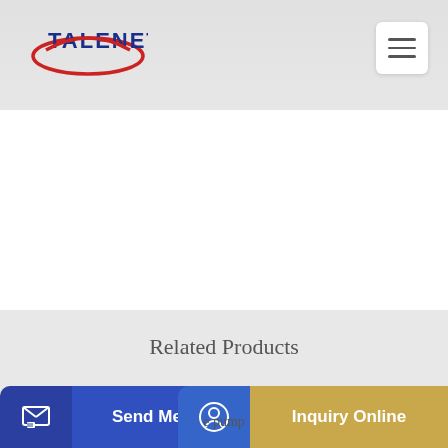[Figure (logo): TALENET company logo with red swoosh oval and blue bold text]
[Figure (other): Hamburger menu button (three horizontal lines) in white rounded box]
Related Products
concrete plante prix
Junjin Concrete Pump Truck With Custom Logo
e pump
[Figure (other): Send Message button with blue background and pencil icon]
[Figure (other): Inquiry Online button with gold/amber background and headset icon]